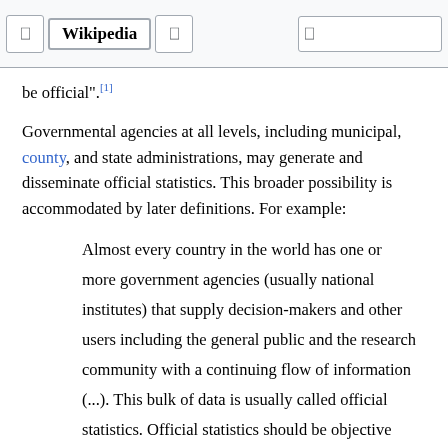Wikipedia
be official".[1]
Governmental agencies at all levels, including municipal, county, and state administrations, may generate and disseminate official statistics. This broader possibility is accommodated by later definitions. For example:
Almost every country in the world has one or more government agencies (usually national institutes) that supply decision-makers and other users including the general public and the research community with a continuing flow of information (...). This bulk of data is usually called official statistics. Official statistics should be objective and easily accessible and